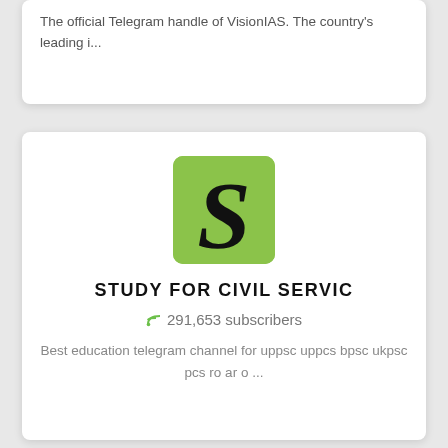The official Telegram handle of VisionIAS. The country's leading i...
[Figure (logo): Green square logo with stylized black S letter]
STUDY FOR CIVIL SERVIC
291,653 subscribers
Best education telegram channel for uppsc uppcs bpsc ukpsc pcs ro ar o ...
[Figure (logo): Circular logo with N letter and arrows, blue and green colors]